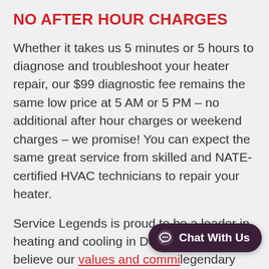NO AFTER HOUR CHARGES
Whether it takes us 5 minutes or 5 hours to diagnose and troubleshoot your heater repair, our $99 diagnostic fee remains the same low price at 5 AM or 5 PM – no additional after hour charges or weekend charges – we promise! You can expect the same great service from skilled and NATE-certified HVAC technicians to repair your heater.
Service Legends is proud to be a leader in heating and cooling in Des Moines. We believe our values and commi... legendary customer service se...